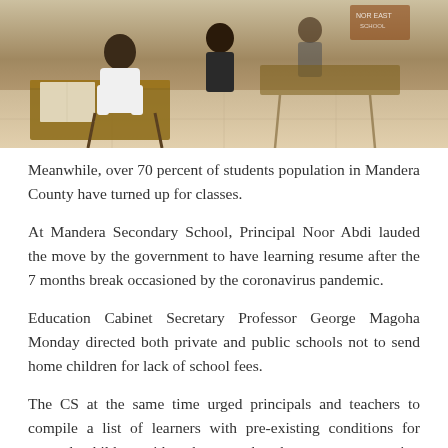[Figure (photo): Students in a classroom sitting at wooden desks; a teacher or official in a white shirt is visible in the foreground; tiled floor visible in the background.]
Meanwhile, over 70 percent of students population in Mandera County have turned up for classes.
At Mandera Secondary School, Principal Noor Abdi lauded the move by the government to have learning resume after the 7 months break occasioned by the coronavirus pandemic.
Education Cabinet Secretary Professor George Magoha Monday directed both private and public schools not to send home children for lack of school fees.
The CS at the same time urged principals and teachers to compile a list of learners with pre-existing conditions for example children with asthma, so that the necessary attention can be given to them.